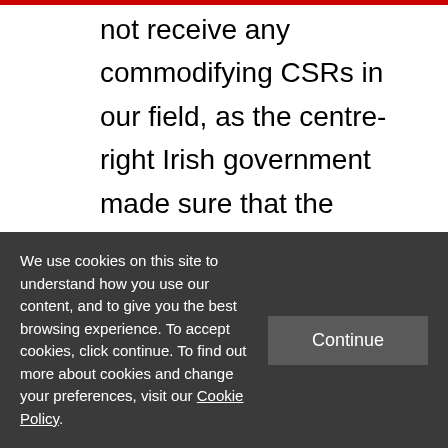only a small number of sectors. Ireland did not receive any commodifying CSRs in our field, as the centre-right Irish government made sure that the austerity wage cuts were restored at such a slow pace that they did not cause any concern in Brussels. Irish growth rates also increased again, not as a result of the austerity cutbacks, but due to the growth of actual and transfer pricing activities that multinational firms reported in
We use cookies on this site to understand how you use our content, and to give you the best browsing experience. To accept cookies, click continue. To find out more about cookies and change your preferences, visit our Cookie Policy.